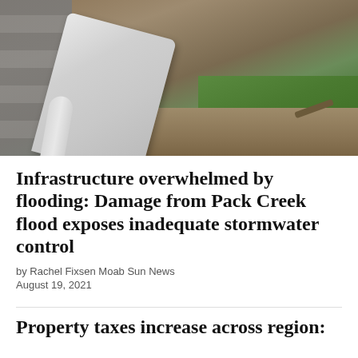[Figure (photo): Flood damage photo showing a collapsed or displaced white metal gutter/drainage cover leaning against a stone block wall, with mud and disturbed ground visible, and green grass in the background]
Infrastructure overwhelmed by flooding: Damage from Pack Creek flood exposes inadequate stormwater control
by Rachel Fixsen Moab Sun News
August 19, 2021
Property taxes increase across region: